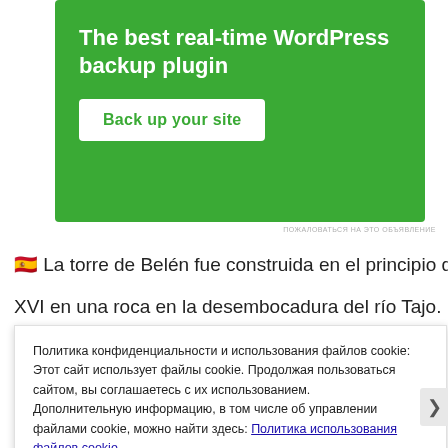[Figure (screenshot): Green advertisement banner for WordPress backup plugin with white button 'Back up your site']
🇪🇸 La torre de Belén fue construida en el principio del siglo
XVI en una roca en la desembocadura del río Tajo. Algunas
Политика конфиденциальности и использования файлов cookie: Этот сайт использует файлы cookie. Продолжая пользоваться сайтом, вы соглашаетесь с их использованием. Дополнительную информацию, в том числе об управлении файлами cookie, можно найти здесь: Политика использования файлов cookie
Принять и закрыть